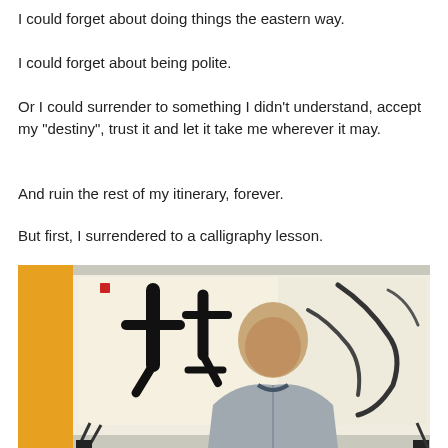I could forget about doing things the eastern way.
I could forget about being polite.
Or I could surrender to something I didn’t understand, accept my “destiny”, trust it and let it take me wherever it may.
And ruin the rest of my itinerary, forever.
But first, I surrendered to a calligraphy lesson.
[Figure (photo): A man with a shaved head wearing a grey robe, bent over a surface doing calligraphy. Behind him is a white board with large Chinese calligraphy characters on paper, and an orange panel on the left.]